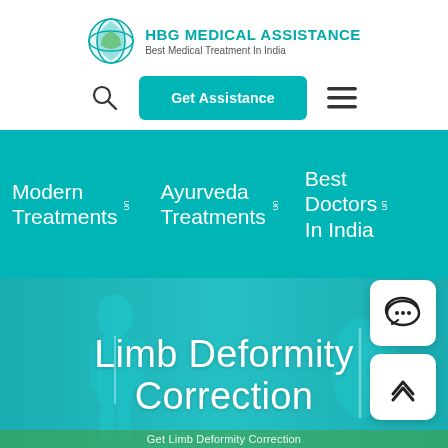[Figure (logo): HBG Medical Assistance globe logo icon with green and teal colors]
HBG MEDICAL ASSISTANCE
Best Medical Treatment In India
[Figure (other): Search icon (magnifying glass)]
Get Assistance
[Figure (other): Hamburger menu icon (three horizontal lines)]
Modern Treatments
Ayurveda Treatments
Best Doctors In India
Limb Deformity Correction
Get Limb Deformity Correction